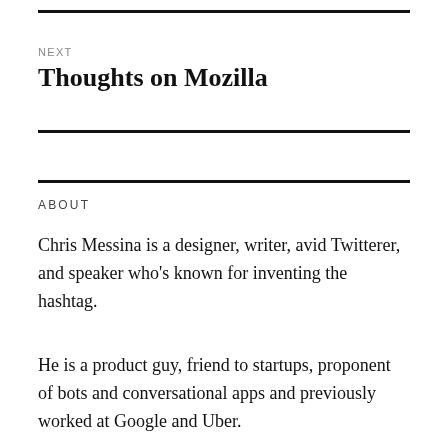NEXT
Thoughts on Mozilla
ABOUT
Chris Messina is a designer, writer, avid Twitterer, and speaker who’s known for inventing the hashtag.
He is a product guy, friend to startups, proponent of bots and conversational apps and previously worked at Google and Uber.